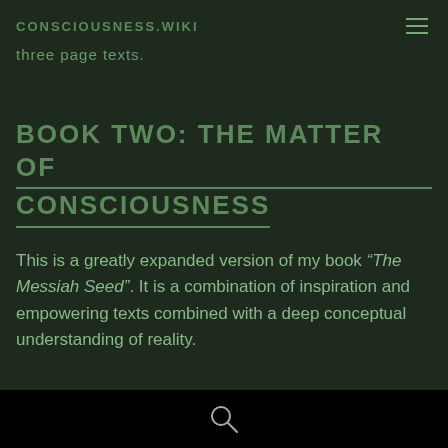CONSCIOUSNESS.WIKI
three page texts.
BOOK TWO: THE MATTER OF CONSCIOUSNESS
This is a greatly expanded version of my book “The Messiah Seed”. It is a combination of inspiration and empowering texts combined with a deep conceptual understanding of reality.